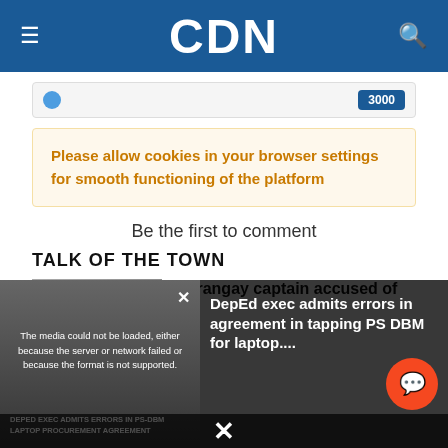CDN
3000
Please allow cookies in your browser settings for smooth functioning of the platform
Be the first to comment
TALK OF THE TOWN
Barangay captain accused of
[Figure (screenshot): Video player showing DepEd exec admits errors in agreement in tapping PS DBM for laptop with error message overlay]
DepEd exec admits errors in agreement in tapping PS DBM for laptop....